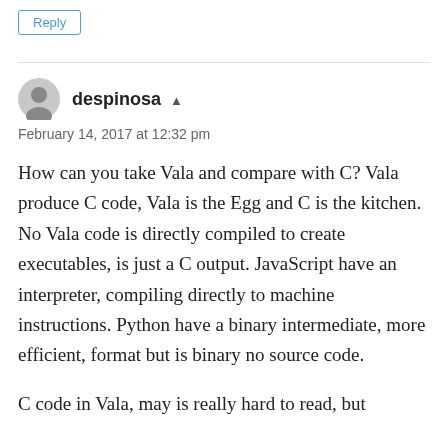Reply
despinosa ▲
February 14, 2017 at 12:32 pm
How can you take Vala and compare with C? Vala produce C code, Vala is the Egg and C is the kitchen. No Vala code is directly compiled to create executables, is just a C output. JavaScript have an interpreter, compiling directly to machine instructions. Python have a binary intermediate, more efficient, format but is binary no source code.
C code in Vala, may is really hard to read, but